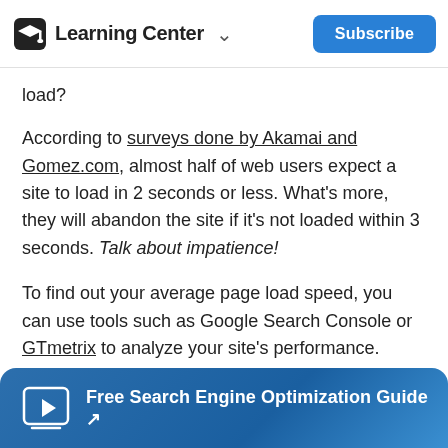Learning Center
load?
According to surveys done by Akamai and Gomez.com, almost half of web users expect a site to load in 2 seconds or less. What's more, they will abandon the site if it's not loaded within 3 seconds. Talk about impatience!
To find out your average page load speed, you can use tools such as Google Search Console or GTmetrix to analyze your site's performance.
If you discover your load speed is higher than it
Free Search Engine Optimization Guide ↗